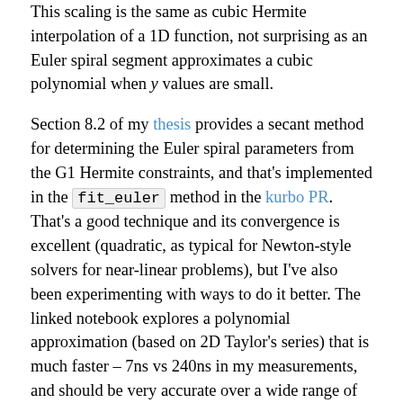This scaling is the same as cubic Hermite interpolation of a 1D function, not surprising as an Euler spiral segment approximates a cubic polynomial when y values are small.
Section 8.2 of my thesis provides a secant method for determining the Euler spiral parameters from the G1 Hermite constraints, and that's implemented in the fit_euler method in the kurbo PR. That's a good technique and its convergence is excellent (quadratic, as typical for Newton-style solvers for near-linear problems), but I've also been experimenting with ways to do it better. The linked notebook explores a polynomial approximation (based on 2D Taylor's series) that is much faster – 7ns vs 240ns in my measurements, and should be very accurate over a wide range of parameters. I'm not quite done making the error bounds rigorous, but this approach should help make the overall algorithm lightning-fast.
Geometric Hermite interpolation works well to approximate the parallel curve of an Euler spiral segment with another